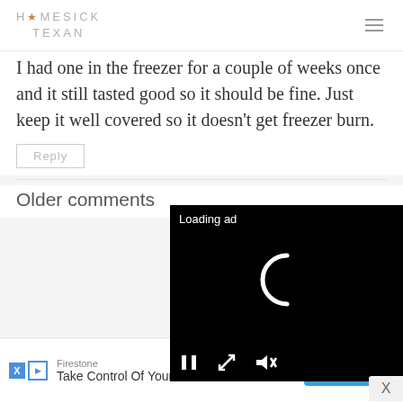HOMESICK TEXAN
I had one in the freezer for a couple of weeks once and it still tasted good so it should be fine. Just keep it well covered so it doesn't get freezer burn.
Reply
Older comments
[Figure (screenshot): Black video ad player overlay showing 'Loading ad' text, a spinning C loader icon, and playback controls (pause, expand, mute) at the bottom]
[Figure (screenshot): Bottom banner advertisement: Firestone brand, 'Take Control Of Your Vehicle' with DOWNLOAD button]